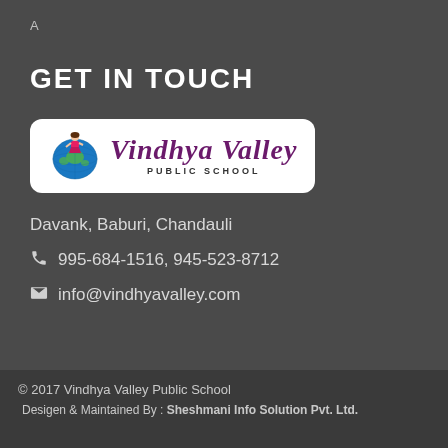A
GET IN TOUCH
[Figure (logo): Vindhya Valley Public School logo — globe illustration with school name in purple gothic/italic font and 'PUBLIC SCHOOL' in small caps below]
Davank, Baburi, Chandauli
995-684-1516, 945-523-8712
info@vindhyavalley.com
© 2017 Vindhya Valley Public School
Desigen & Maintained By : Sheshmani Info Solution Pvt. Ltd.